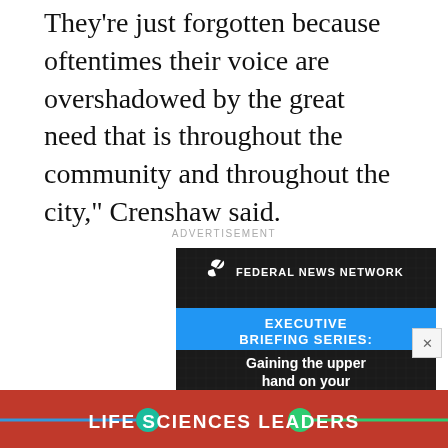They're just forgotten because oftentimes their voice are overshadowed by the great need that is throughout the community and throughout the city," Crenshaw said.
ADVERTISEMENT
[Figure (screenshot): Federal News Network advertisement banner showing 'EXECUTIVE BRIEFING SERIES: Gaining the upper hand on your' text over a dark circuit-board background image.]
[Figure (screenshot): Life Sciences Leaders advertisement banner in red with blue and green dots on sides.]